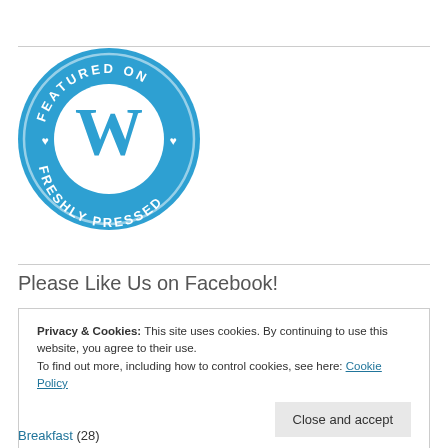[Figure (logo): WordPress 'Featured on Freshly Pressed' circular badge in blue with white WordPress W logo in the center and text around the border]
Please Like Us on Facebook!
Privacy & Cookies: This site uses cookies. By continuing to use this website, you agree to their use.
To find out more, including how to control cookies, see here: Cookie Policy
Breakfast (28)